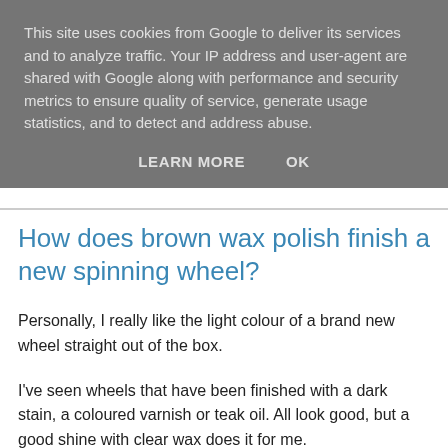This site uses cookies from Google to deliver its services and to analyze traffic. Your IP address and user-agent are shared with Google along with performance and security metrics to ensure quality of service, generate usage statistics, and to detect and address abuse.
LEARN MORE    OK
How does brown wax polish finish a new spinning wheel?
Personally, I really like the light colour of a brand new wheel straight out of the box.
I've seen wheels that have been finished with a dark stain, a coloured varnish or teak oil. All look good, but a good shine with clear wax does it for me.
Over time the wood darkens anyway. After even a few months, the wood is noticeably darker.